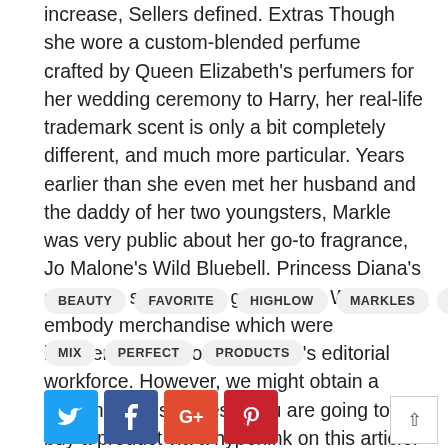increase, Sellers defined. Extras Though she wore a custom-blended perfume crafted by Queen Elizabeth's perfumers for her wedding ceremony to Harry, her real-life trademark scent is only a bit completely different, and much more particular. Years earlier than she even met her husband and the daddy of her two youngsters, Markle was very public about her go-to fragrance, Jo Malone's Wild Bluebell. Princess Diana's signature scent? You guessed it. We solely embody merchandise which were independently chosen by TZR's editorial workforce. However, we might obtain a portion of gross sales if you are going to buy a product via a hyperlink on this article.
BEAUTY
FAVORITE
HIGHLOW
MARKLES
MEGHAN
MIX
PERFECT
PRODUCTS